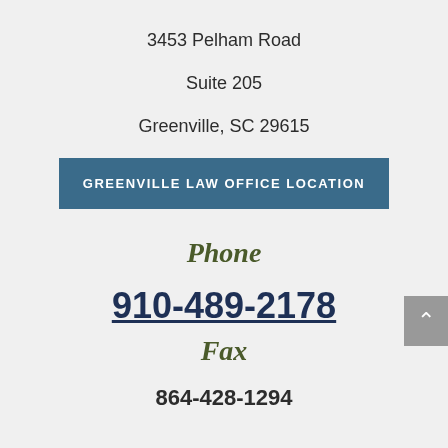3453 Pelham Road
Suite 205
Greenville, SC 29615
GREENVILLE LAW OFFICE LOCATION
Phone
910-489-2178
Fax
864-428-1294